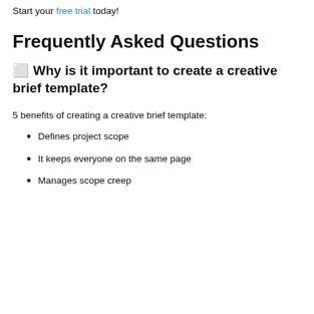Start your free trial today!
Frequently Asked Questions
🔲 Why is it important to create a creative brief template?
5 benefits of creating a creative brief template:
Defines project scope
It keeps everyone on the same page
Manages scope creep